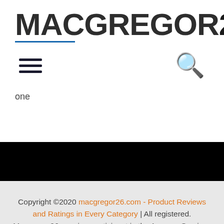MACGREGOR26
[Figure (logo): MACGREGOR26 website logo with blue underline accent]
[Figure (infographic): Navigation bar with hamburger menu icon on left and search icon on right]
one
[Figure (other): Black bar / dark banner area]
Copyright ©2020 macgregor26.com - Product Reviews and Ratings in Every Category | All registered. Macgregor26.com is a participant in the Amazon Services LLC Associates Program, an affiliate advertising program designed to provide a means for website owners to earn fees by linking to Amazon.com and